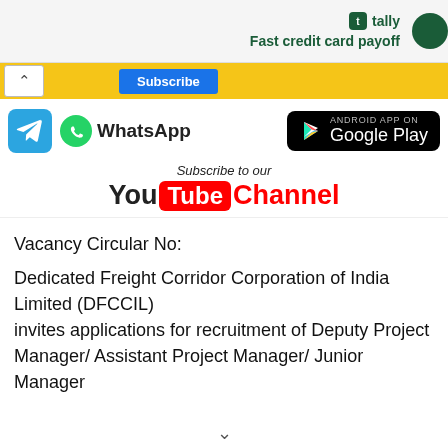[Figure (screenshot): Tally app advertisement banner with green logo and 'Fast credit card payoff' tagline]
[Figure (screenshot): Subscribe bar with yellow background, up chevron, Subscribe button, and social media icons including Telegram, WhatsApp, and Google Play store badge]
[Figure (screenshot): YouTube channel subscription prompt with 'Subscribe to our YouTube Channel' text]
Vacancy Circular No:
Dedicated Freight Corridor Corporation of India Limited (DFCCIL) invites applications for recruitment of Deputy Project Manager/ Assistant Project Manager/ Junior Manager